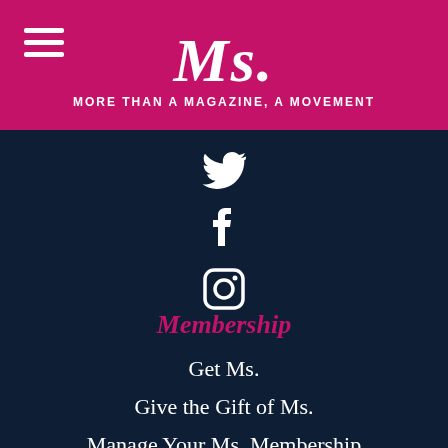Ms. — MORE THAN A MAGAZINE, A MOVEMENT
[Figure (other): Twitter bird icon (white on dark blue)]
[Figure (other): Facebook 'f' icon (white on dark blue)]
[Figure (other): Instagram camera icon (white on dark blue)]
Membership
Get Ms.
Give the Gift of Ms.
Manage Your Ms. Membership
Support Ms.
Newsletters